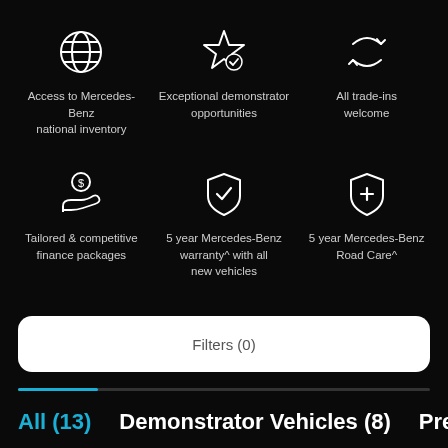[Figure (infographic): Globe icon representing national inventory access]
Access to Mercedes-Benz national inventory
[Figure (infographic): Star with checkmark icon representing demonstrator opportunities]
Exceptional demonstrator opportunities
[Figure (infographic): Two arrows in a cycle representing trade-ins]
All trade-ins welcome
[Figure (infographic): Hand with dollar coin icon representing finance packages]
Tailored & competitive finance packages
[Figure (infographic): Shield with checkmark icon representing warranty]
5 year Mercedes-Benz warranty^ with all new vehicles
[Figure (infographic): Shield with plus icon representing Road Care]
5 year Mercedes-Benz Road Care^
Filters (0)
All (13)
Demonstrator Vehicles (8)
Pre-Owned V